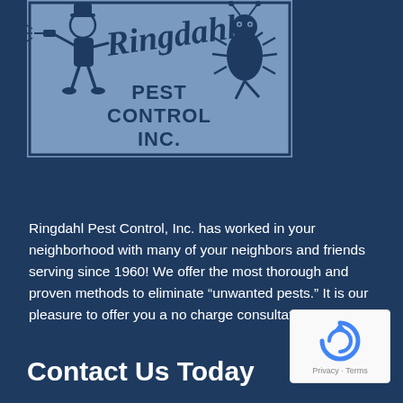[Figure (logo): Ringdahl Pest Control Inc. logo featuring a cartoon exterminator figure on the left and a cartoon bug on the right, with 'Ringdahl' in cursive script and 'PEST CONTROL INC.' in block letters, on a steel-blue background]
Ringdahl Pest Control, Inc. has worked in your neighborhood with many of your neighbors and friends serving since 1960! We offer the most thorough and proven methods to eliminate “unwanted pests.” It is our pleasure to offer you a no charge consultation.
Contact Us Today
[Figure (logo): Google reCAPTCHA badge with circular arrow icon, showing Privacy and Terms links]